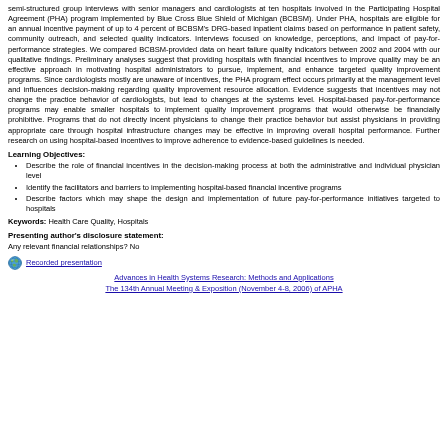semi-structured group interviews with senior managers and cardiologists at ten hospitals involved in the Participating Hospital Agreement (PHA) program implemented by Blue Cross Blue Shield of Michigan (BCBSM). Under PHA, hospitals are eligible for an annual incentive payment of up to 4 percent of BCBSM's DRG-based inpatient claims based on performance in patient safety, community outreach, and selected quality indicators. Interviews focused on knowledge, perceptions, and impact of pay-for-performance strategies. We compared BCBSM-provided data on heart failure quality indicators between 2002 and 2004 with our qualitative findings. Preliminary analyses suggest that providing hospitals with financial incentives to improve quality may be an effective approach in motivating hospital administrators to pursue, implement, and enhance targeted quality improvement programs. Since cardiologists mostly are unaware of incentives, the PHA program effect occurs primarily at the management level and influences decision-making regarding quality improvement resource allocation. Evidence suggests that incentives may not change the practice behavior of cardiologists, but lead to changes at the systems level. Hospital-based pay-for-performance programs may enable smaller hospitals to implement quality improvement programs that would otherwise be financially prohibitive. Programs that do not directly incent physicians to change their practice behavior but assist physicians in providing appropriate care through hospital infrastructure changes may be effective in improving overall hospital performance. Further research on using hospital-based incentives to improve adherence to evidence-based guidelines is needed.
Learning Objectives:
Describe the role of financial incentives in the decision-making process at both the administrative and individual physician level
Identify the facilitators and barriers to implementing hospital-based financial incentive programs
Describe factors which may shape the design and implementation of future pay-for-performance initiatives targeted to hospitals
Keywords: Health Care Quality, Hospitals
Presenting author's disclosure statement:
Any relevant financial relationships? No
[Figure (illustration): Globe icon next to a hyperlink labeled 'Recorded presentation']
Recorded presentation
Advances in Health Systems Research: Methods and Applications
The 134th Annual Meeting & Exposition (November 4-8, 2006) of APHA